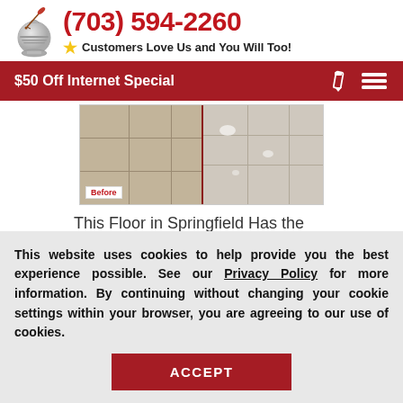[Figure (logo): Knight/armor logo with quill pen]
(703) 594-2260
Customers Love Us and You Will Too!
$50 Off Internet Special
[Figure (photo): Before and after comparison of tile floor polishing in Springfield. Left side shows dull tiles labeled 'Before', right side shows gleaming polished stone tiles.]
This Floor in Springfield Has the Brightest Gleam Thanks to Our Stone Poli...
This website uses cookies to help provide you the best experience possible. See our Privacy Policy for more information. By continuing without changing your cookie settings within your browser, you are agreeing to our use of cookies.
ACCEPT